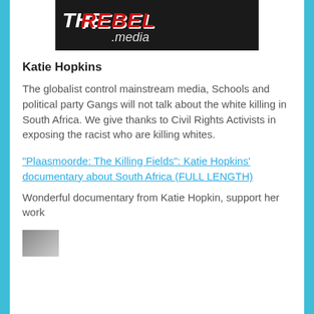[Figure (logo): TheRebel.media logo — dark background with white/red bold italic text reading 'THE REBEL' and '.media' below]
Katie Hopkins
The globalist control mainstream media, Schools and political party Gangs will not talk about the white killing in South Africa. We give thanks to Civil Rights Activists in exposing the racist who are killing whites.
"Plaasmoorde: The Killing Fields": Katie Hopkins' documentary about South Africa (FULL LENGTH)
Wonderful documentary from Katie Hopkin, support her work
[Figure (photo): Small thumbnail image partially visible at bottom of page]